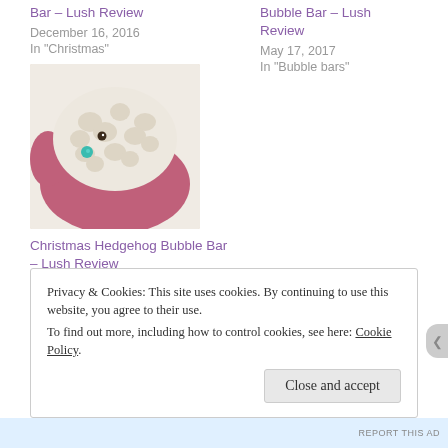Bar – Lush Review
December 16, 2016
In "Christmas"
Bubble Bar – Lush Review
May 17, 2017
In "Bubble bars"
[Figure (photo): A white/cream colored hedgehog bubble bar held in pink-gloved hands, with a small teal/turquoise bead detail]
Christmas Hedgehog Bubble Bar – Lush Review
August 26, 2016
In "Bubble bars"
Privacy & Cookies: This site uses cookies. By continuing to use this website, you agree to their use.
To find out more, including how to control cookies, see here: Cookie Policy
Close and accept